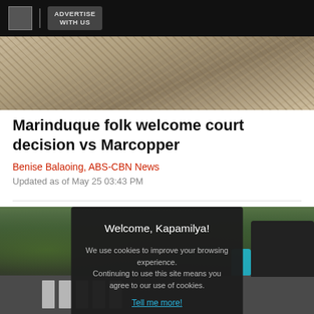ADVERTISE WITH US
[Figure (photo): Close-up of dry, cracked earth or rocky ground texture]
Marinduque folk welcome court decision vs Marcopper
Benise Balaoing, ABS-CBN News
Updated as of May 25 03:43 PM
[Figure (photo): Street scene with pedestrians crossing a crosswalk, trees and buildings visible]
Welcome, Kapamilya!

We use cookies to improve your browsing experience.
Continuing to use this site means you agree to our use of cookies.

Tell me more!

I AGREE!